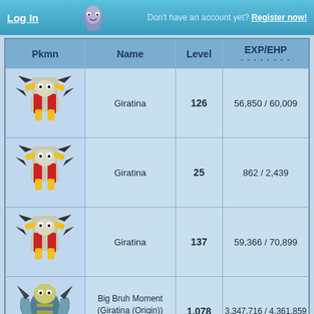Log In | Don't have an account yet? Register now!
| Pkmn | Name | Level | EXP/EHP |
| --- | --- | --- | --- |
| [Giratina sprite] | Giratina | 126 | 56,850 / 60,009 |
| [Giratina sprite] | Giratina | 25 | 862 / 2,439 |
| [Giratina sprite] | Giratina | 137 | 59,366 / 70,899 |
| [Giratina Origin sprite] | Big Bruh Moment (Giratina (Origin)) SHINY ★ | 1,078 | 3,347,716 / 4,361,859 |
| [Giratina sprite] |  |  |  |